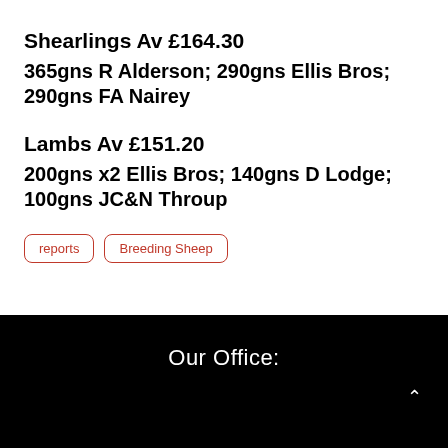Shearlings Av £164.30
365gns R Alderson; 290gns Ellis Bros; 290gns FA Nairey
Lambs Av £151.20
200gns x2 Ellis Bros; 140gns D Lodge; 100gns JC&N Throup
reports
Breeding Sheep
Our Office: